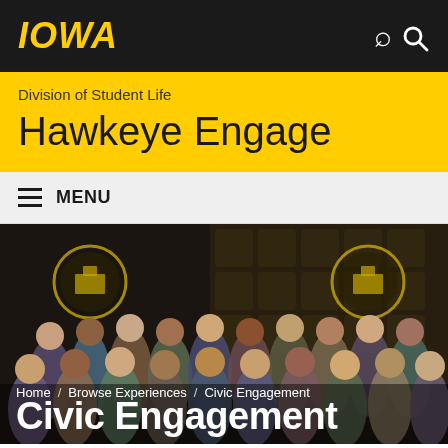IOWA
Hawkeye Engage
Division of Student Life
≡ MENU
[Figure (photo): Group photo of students at an awards ceremony on a darkened stage with University of Iowa branded backdrop featuring Tigerhawk and building icons]
Home / Browse Experiences / Civic Engagement
Civic Engagement